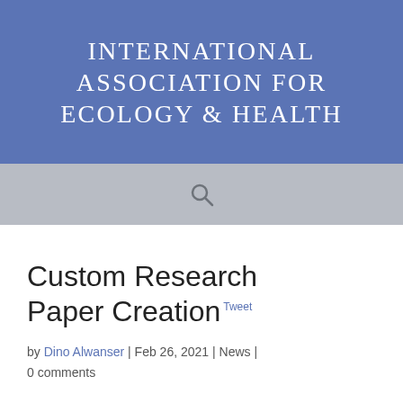INTERNATIONAL ASSOCIATION FOR ECOLOGY & HEALTH
[Figure (other): Search bar with magnifying glass icon on grey background]
Custom Research Paper Creation
by Dino Alwanser | Feb 26, 2021 | News | 0 comments